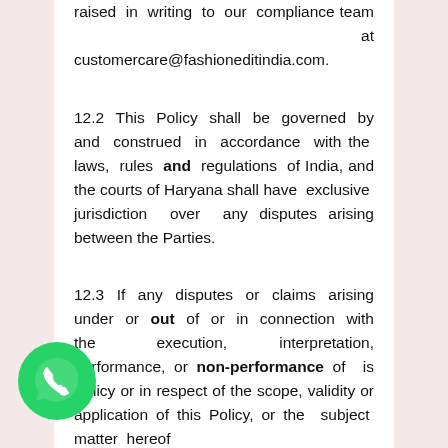raised in writing to our compliance team at customercare@fashioneditindia.com.
12.2 This Policy shall be governed by and construed in accordance with the laws, rules and regulations of India, and the courts of Haryana shall have exclusive jurisdiction over any disputes arising between the Parties.
12.3 If any disputes or claims arising under or out of or in connection with the execution, interpretation, performance, or non-performance of this Policy or in respect of the scope, validity or application of this Policy, or the subject matter hereof
[Figure (logo): WhatsApp logo — green circle with white phone handset icon]